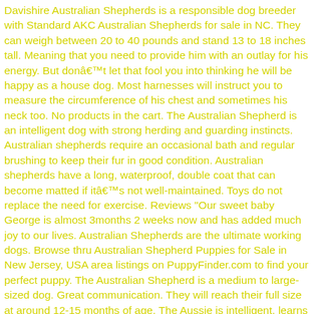Davishire Australian Shepherds is a responsible dog breeder with Standard AKC Australian Shepherds for sale in NC. They can weigh between 20 to 40 pounds and stand 13 to 18 inches tall. Meaning that you need to provide him with an outlay for his energy. But donât let that fool you into thinking he will be happy as a house dog. Most harnesses will instruct you to measure the circumference of his chest and sometimes his neck too. No products in the cart. The Australian Shepherd is an intelligent dog with strong herding and guarding instincts. Australian shepherds require an occasional bath and regular brushing to keep their fur in good condition. Australian shepherds have a long, waterproof, double coat that can become matted if itâs not well-maintained. Toys do not replace the need for exercise. Reviews "Our sweet baby George is almost 3months 2 weeks now and has added much joy to our lives. Australian Shepherds are the ultimate working dogs. Browse thru Australian Shepherd Puppies for Sale in New Jersey, USA area listings on PuppyFinder.com to find your perfect puppy. The Australian Shepherd is a medium to large-sized dog. Great communication. They will reach their full size at around 12-15 months of age. The Aussie is intelligent, learns quickly, and loves to play. That's where we come in. They are loyal companions and have the stamina to work all day. Lisa Fedro. (female) Common Health Problems. Online store always open. Poodles are everywhere it seems. All Australian